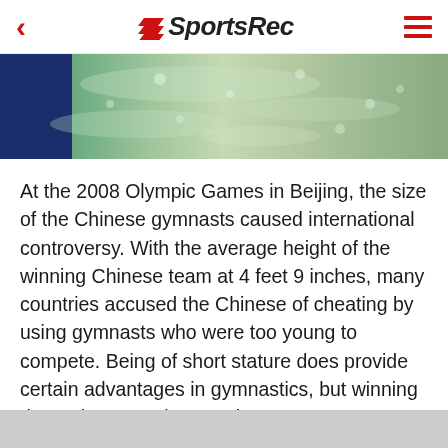SportsRec
[Figure (photo): Close-up photo of a gymnastics apparatus (balance beam or bar), greenish-yellow textured surface with a dark blue rectangle on the left side]
At the 2008 Olympic Games in Beijing, the size of the Chinese gymnasts caused international controversy. With the average height of the winning Chinese team at 4 feet 9 inches, many countries accused the Chinese of cheating by using gymnasts who were too young to compete. Being of short stature does provide certain advantages in gymnastics, but winning depends on much more than a gymnast's height.